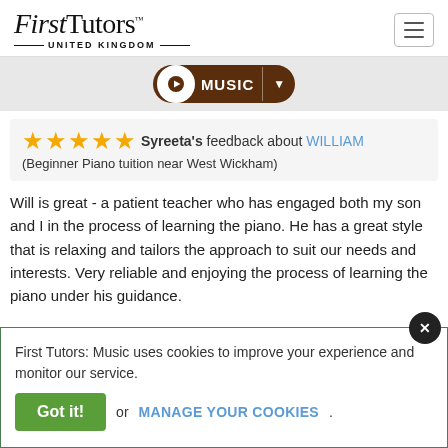First Tutors UNITED KINGDOM
MUSIC
Syreeta's feedback about WILLIAM (Beginner Piano tuition near West Wickham)
Will is great - a patient teacher who has engaged both my son and I in the process of learning the piano. He has a great style that is relaxing and tailors the approach to suit our needs and interests. Very reliable and enjoying the process of learning the piano under his guidance.
First Tutors: Music uses cookies to improve your experience and monitor our service. Got it! or MANAGE YOUR COOKIES.